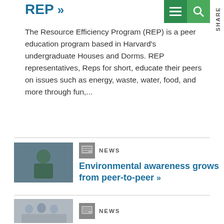REP »
The Resource Efficiency Program (REP) is a peer education program based in Harvard's undergraduate Houses and Dorms. REP representatives, Reps for short, educate their peers on issues such as energy, waste, water, food, and more through fun,...
[Figure (photo): Photo of a person in a green shirt sitting at a table]
NEWS
Environmental awareness grows from peer-to-peer »
[Figure (photo): Photo of a group of people]
NEWS